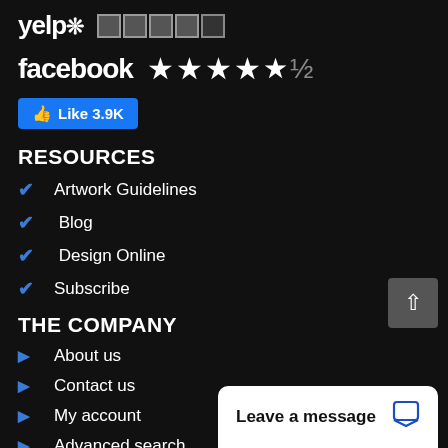[Figure (logo): Yelp logo with burst icon and 4-star rating boxes (4 filled, 1 empty)]
[Figure (logo): Facebook logo with 4.5 star rating]
[Figure (other): Facebook Like button showing 3.9K likes]
RESOURCES
Artwork Guidelines
Blog
Design Online
Subscribe
THE COMPANY
About us
Contact us
My account
Advanced search
Terms and Conditions
Privacy Policy
[Figure (other): Leave a message chat widget button]